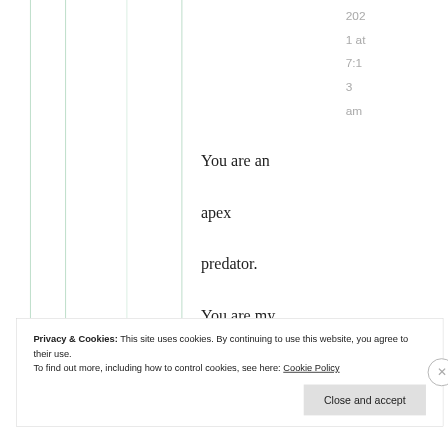2021 at 7:13 am
You are an apex predator. You are my favorite
Privacy & Cookies: This site uses cookies. By continuing to use this website, you agree to their use.
To find out more, including how to control cookies, see here: Cookie Policy
Close and accept